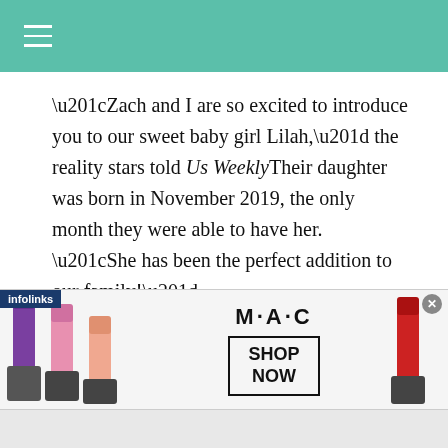[Navigation header with hamburger menu icon]
“Zach and I are so excited to introduce you to our sweet baby girl Lilah,” the reality stars told Us WeeklyTheir daughter was born in November 2019, the only month they were able to have her. “She has been the perfect addition to our family!”
Seven months after Zach had died, the news broke seven months later. Tori told UseThey
[Figure (advertisement): MAC Cosmetics advertisement showing lipsticks on left and right, MAC logo in center, SHOP NOW button in a box, with infolinks label and close button]